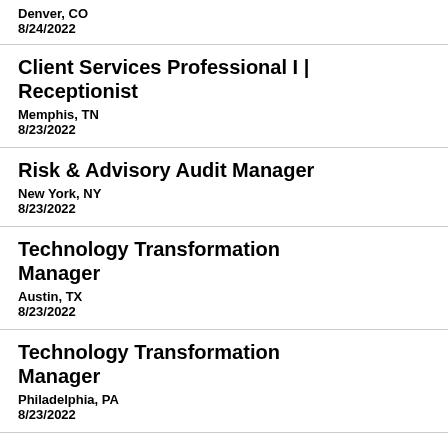Denver, CO
8/24/2022
Client Services Professional I | Receptionist
Memphis, TN
8/23/2022
Risk & Advisory Audit Manager
New York, NY
8/23/2022
Technology Transformation Manager
Austin, TX
8/23/2022
Technology Transformation Manager
Philadelphia, PA
8/23/2022